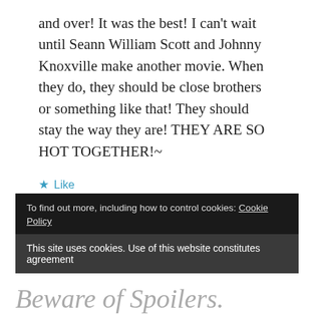and over! It was the best! I can't wait until Seann William Scott and Johnny Knoxville make another movie. When they do, they should be close brothers or something like that! They should stay the way they are! THEY ARE SO HOT TOGETHER!~
★ Like
REPLY
To find out more, including how to control cookies: Cookie Policy
This site uses cookies. Use of this website constitutes agreement
Beware of Spoilers.